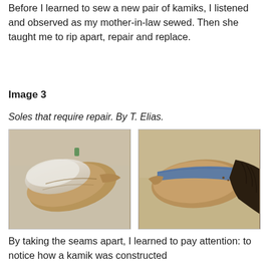Before I learned to sew a new pair of kamiks, I listened and observed as my mother-in-law sewed. Then she taught me to rip apart, repair and replace.
Image 3
Soles that require repair. By T. Elias.
[Figure (photo): Two photographs side by side showing kamik soles that require repair. Left photo shows a sole with white fur lining. Right photo shows a sole with a blue band and dark fur trim.]
By taking the seams apart, I learned to pay attention: to notice how a kamik was constructed